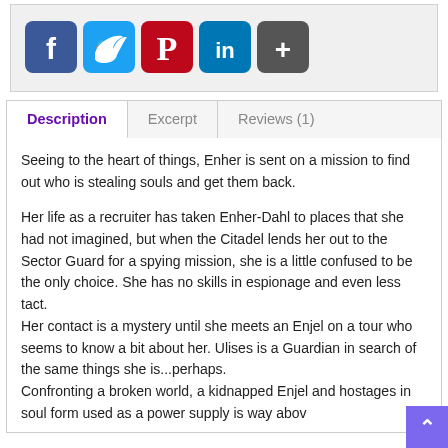[Figure (other): Social media sharing buttons: Facebook (blue), Twitter (blue bird), Pinterest (red P), LinkedIn (blue in), and a more/share button (dark +)]
Description | Excerpt | Reviews (1)
Seeing to the heart of things, Enher is sent on a mission to find out who is stealing souls and get them back.
Her life as a recruiter has taken Enher-Dahl to places that she had not imagined, but when the Citadel lends her out to the Sector Guard for a spying mission, she is a little confused to be the only choice. She has no skills in espionage and even less tact.
Her contact is a mystery until she meets an Enjel on a tour who seems to know a bit about her. Ulises is a Guardian in search of the same things she is...perhaps.
Confronting a broken world, a kidnapped Enjel and hostages in soul form used as a power supply is way above her pay grade.